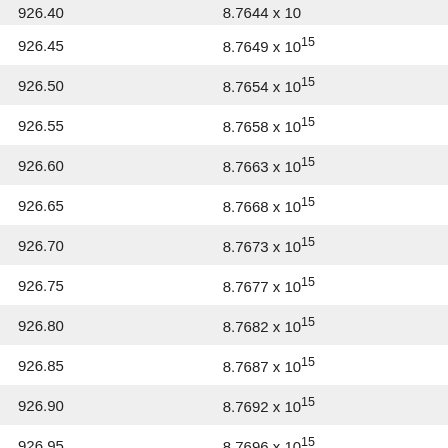| 926.40 | 8.7644 x 10¹⁵ |
| 926.45 | 8.7649 x 10¹⁵ |
| 926.50 | 8.7654 x 10¹⁵ |
| 926.55 | 8.7658 x 10¹⁵ |
| 926.60 | 8.7663 x 10¹⁵ |
| 926.65 | 8.7668 x 10¹⁵ |
| 926.70 | 8.7673 x 10¹⁵ |
| 926.75 | 8.7677 x 10¹⁵ |
| 926.80 | 8.7682 x 10¹⁵ |
| 926.85 | 8.7687 x 10¹⁵ |
| 926.90 | 8.7692 x 10¹⁵ |
| 926.95 | 8.7696 x 10¹⁵ |
| 927.00 | 8.7701 x 10¹⁵ |
| 927.05 | 8.7706 x 10¹⁵ |